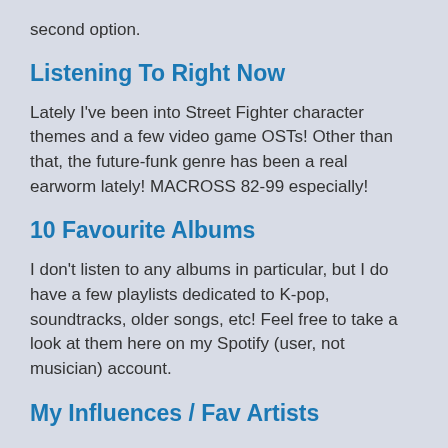second option.
Listening To Right Now
Lately I've been into Street Fighter character themes and a few video game OSTs! Other than that, the future-funk genre has been a real earworm lately! MACROSS 82-99 especially!
10 Favourite Albums
I don't listen to any albums in particular, but I do have a few playlists dedicated to K-pop, soundtracks, older songs, etc! Feel free to take a look at them here on my Spotify (user, not musician) account.
My Influences / Fav Artists